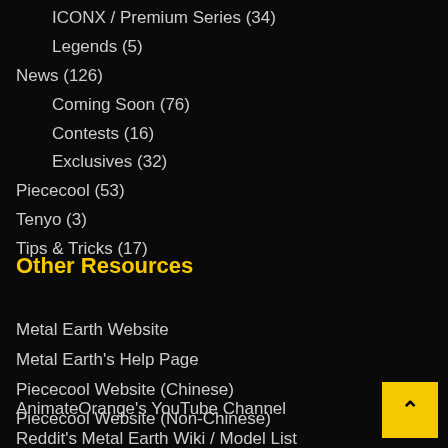ICONX / Premium Series (34)
Legends (5)
News (126)
Coming Soon (76)
Contests (16)
Exclusives (32)
Piececool (53)
Tenyo (3)
Tips & Tricks (17)
Other Resources
Metal Earth Website
Metal Earth's Help Page
Piececool Website (Chinese)
Piececool Website (Non-Chinese)
AnimateOrange's YouTube Channel
Reddit's Metal Earth Wiki / Model List